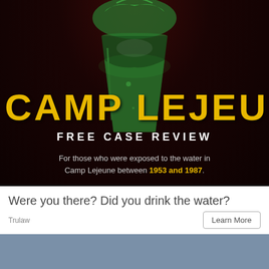[Figure (illustration): Advertisement image with dark red background, green water-filled glass at top, bold yellow text reading CAMP LEJEUNE, white text FREE CASE REVIEW, and tagline about water exposure between 1953 and 1987]
Were you there? Did you drink the water?
Trulaw
Learn More
[Figure (other): Solid steel-blue/grey rectangle at bottom of page]